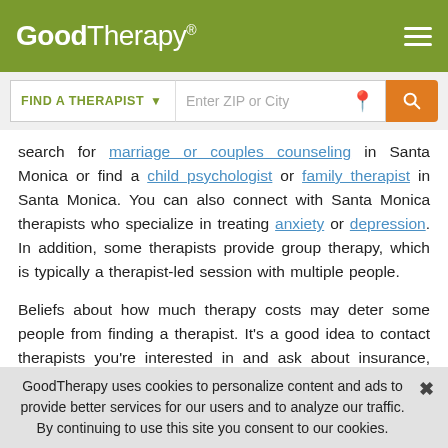GoodTherapy®
[Figure (screenshot): GoodTherapy website header with logo, hamburger menu, and search bar with 'FIND A THERAPIST' dropdown and 'Enter ZIP or City' input field with orange search button]
search for marriage or couples counseling in Santa Monica or find a child psychologist or family therapist in Santa Monica. You can also connect with Santa Monica therapists who specialize in treating anxiety or depression. In addition, some therapists provide group therapy, which is typically a therapist-led session with multiple people.
Beliefs about how much therapy costs may deter some people from finding a therapist. It's a good idea to contact therapists you're interested in and ask about insurance, sliding scale fees, payment plans, and other options to stay
GoodTherapy uses cookies to personalize content and ads to provide better services for our users and to analyze our traffic. By continuing to use this site you consent to our cookies.